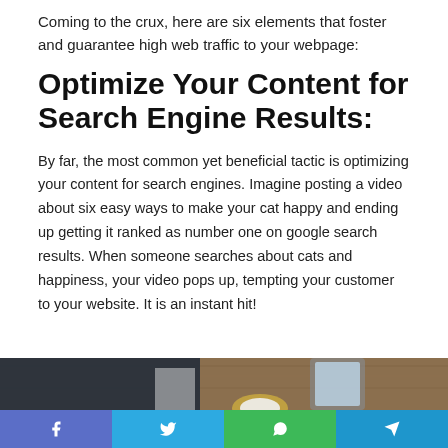Coming to the crux, here are six elements that foster and guarantee high web traffic to your webpage:
Optimize Your Content for Search Engine Results:
By far, the most common yet beneficial tactic is optimizing your content for search engines. Imagine posting a video about six easy ways to make your cat happy and ending up getting it ranked as number one on google search results. When someone searches about cats and happiness, your video pops up, tempting your customer to your website. It is an instant hit!
[Figure (photo): A person wearing a watch sitting at a wooden desk with a tablet or phone in hand, viewed from above.]
[Figure (infographic): Social media share bar with four buttons: Facebook (purple-blue), Twitter (blue), WhatsApp (green), Telegram (dark blue), each with their respective icons.]